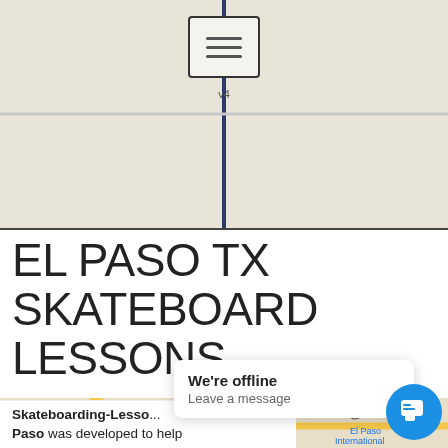[Figure (map): Top portion of a map showing road/navigation icon with vertical and horizontal roads on a beige background]
EL PASO TX SKATEBOARD LESSONS
[Figure (map): Google Map showing El Paso, TX area with Fort Bliss, Sunland Park, Anapra, El Paso International Airport, routes 273, 10, 375, 478, 54, 20 labeled. El Paso city label in bold center.]
Skateboarding-Lesso... Paso was developed to help
We're offline
Leave a message